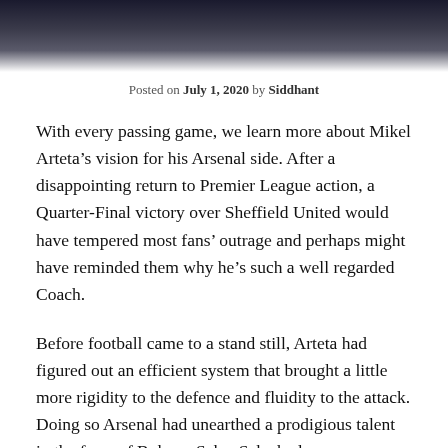[Figure (photo): Dark background photo of a person, partially visible at top of page]
Posted on July 1, 2020 by Siddhant
With every passing game, we learn more about Mikel Arteta’s vision for his Arsenal side. After a disappointing return to Premier League action, a Quarter-Final victory over Sheffield United would have tempered most fans’ outrage and perhaps might have reminded them why he’s such a well regarded Coach.
Before football came to a stand still, Arteta had figured out an efficient system that brought a little more rigidity to the defence and fluidity to the attack. Doing so Arsenal had unearthed a prodigious talent in the form of Bukayo Saka. Saka had